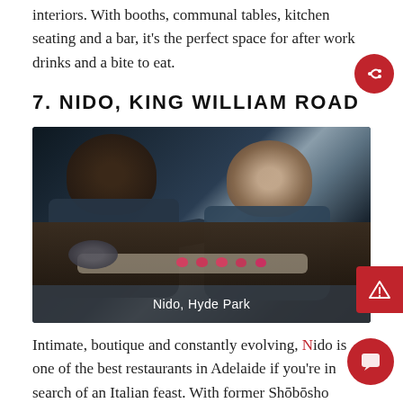interiors. With booths, communal tables, kitchen seating and a bar, it's the perfect space for after work drinks and a bite to eat.
7. NIDO, KING WILLIAM ROAD
[Figure (photo): Two chefs in dark aprons preparing food on a dark wooden counter with dumplings/pasta and pink-colored garnishes. Caption overlay reads 'Nido, Hyde Park'.]
Nido, Hyde Park
Intimate, boutique and constantly evolving, Nido is one of the best restaurants in Adelaide if you're in search of an Italian feast. With former Shōbōsho